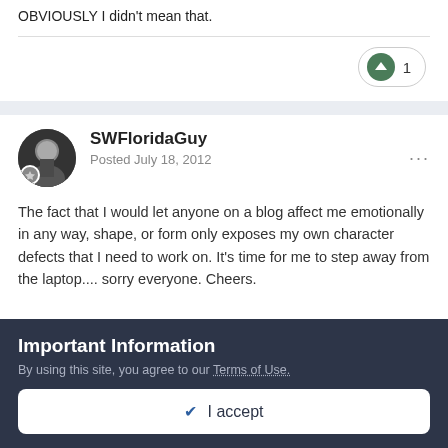OBVIOUSLY I didn't mean that.
The fact that I would let anyone on a blog affect me emotionally in any way, shape, or form only exposes my own character defects that I need to work on. It's time for me to step away from the laptop.... sorry everyone. Cheers.
Important Information
By using this site, you agree to our Terms of Use.
✔ I accept